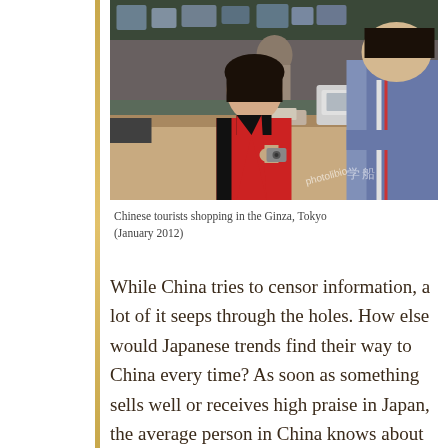[Figure (photo): Chinese tourists shopping in the Ginza, Tokyo. A woman in a red and black jacket holds a small item at a store counter, with a store employee in a blue uniform visible on the right.]
Chinese tourists shopping in the Ginza, Tokyo (January 2012)
While China tries to censor information, a lot of it seeps through the holes. How else would Japanese trends find their way to China every time? As soon as something sells well or receives high praise in Japan, the average person in China knows about it. Especially the wealthy living along the coast know all about these trends, and I believe this is also true for the activities of Happy